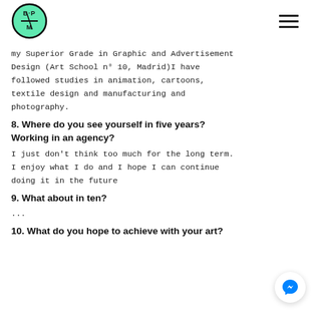BPM logo and navigation menu
my Superior Grade in Graphic and Advertisement Design (Art School n° 10, Madrid)I have followed studies in animation, cartoons, textile design and manufacturing and photography.
8. Where do you see yourself in five years? Working in an agency?
I just don't think too much for the long term. I enjoy what I do and I hope I can continue doing it in the future
9. What about in ten?
...
10. What do you hope to achieve with your art?